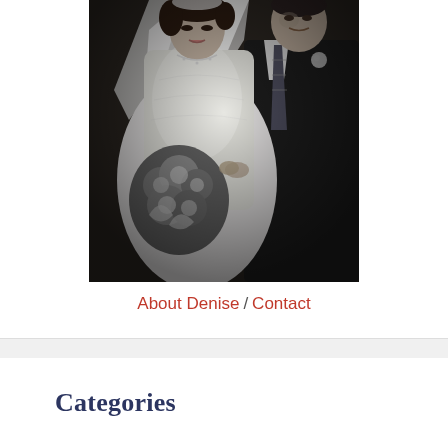[Figure (photo): Black and white vintage wedding photo showing a bride in a white lace dress with veil holding a bouquet of flowers, and a groom in a dark suit with striped tie, looking down together.]
About Denise / Contact
Categories